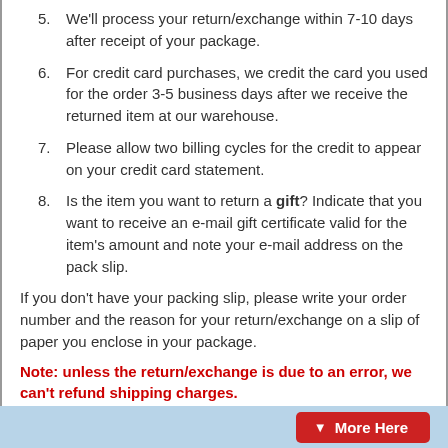5. We'll process your return/exchange within 7-10 days after receipt of your package.
6. For credit card purchases, we credit the card you used for the order 3-5 business days after we receive the returned item at our warehouse.
7. Please allow two billing cycles for the credit to appear on your credit card statement.
8. Is the item you want to return a gift? Indicate that you want to receive an e-mail gift certificate valid for the item's amount and note your e-mail address on the pack slip.
If you don't have your packing slip, please write your order number and the reason for your return/exchange on a slip of paper you enclose in your package.
Note: unless the return/exchange is due to an error, we can't refund shipping charges.
Damaged / Incorrect Items
If you received a damaged or incorrect item in your order, we